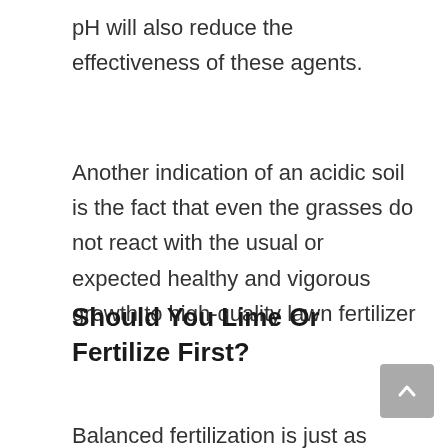pH will also reduce the effectiveness of these agents.
Another indication of an acidic soil is the fact that even the grasses do not react with the usual or expected healthy and vigorous growth to high-quality lawn fertilizer .
Should You Lime Or Fertilize First?
Balanced fertilization is just as much a